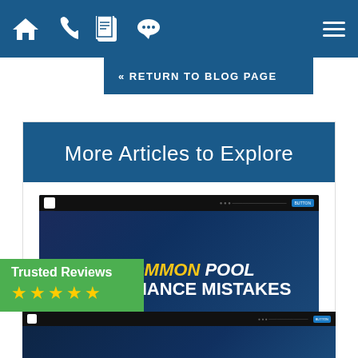Navigation bar with home, phone, notepad, chat icons and hamburger menu
« RETURN TO BLOG PAGE
More Articles to Explore
[Figure (screenshot): Screenshot thumbnail of article titled '5 COMMON POOL MAINTENANCE MISTAKES' with dark blue background]
5 Common Pool Maintenance Mistakes
[Figure (screenshot): Partial screenshot thumbnail of a second article with dark blue background]
Trusted Reviews ★★★★★